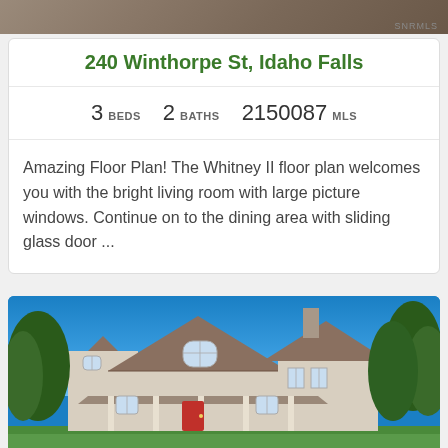[Figure (photo): Top portion of a real estate listing showing aerial/landscape view with SNRMLS watermark]
240 Winthorpe St, Idaho Falls
3 BEDS   2 BATHS   2150087 MLS
Amazing Floor Plan! The Whitney II floor plan welcomes you with the bright living room with large picture windows. Continue on to the dining area with sliding glass door ...
[Figure (photo): Exterior photo of a light gray/beige two-story craftsman style house with multiple gabled roofs, arched windows, red front door, white columns on porch, green trees and blue sky in background]